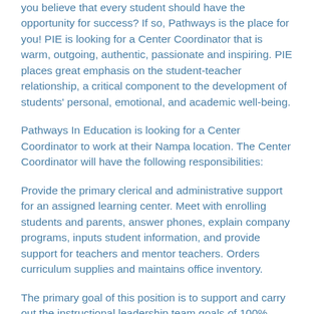you believe that every student should have the opportunity for success? If so, Pathways is the place for you! PIE is looking for a Center Coordinator that is warm, outgoing, authentic, passionate and inspiring. PIE places great emphasis on the student-teacher relationship, a critical component to the development of students' personal, emotional, and academic well-being.
Pathways In Education is looking for a Center Coordinator to work at their Nampa location. The Center Coordinator will have the following responsibilities:
Provide the primary clerical and administrative support for an assigned learning center. Meet with enrolling students and parents, answer phones, explain company programs, inputs student information, and provide support for teachers and mentor teachers. Orders curriculum supplies and maintains office inventory.
The primary goal of this position is to support and carry out the instructional leadership team goals of 100% student retention, 100% ISAT pass rates and all charters achieving a 9 or 10 compared to similar schools in a statewide average. This position provides direct instructional support.